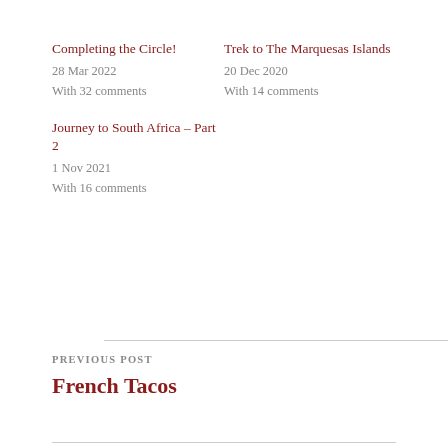Completing the Circle!
28 Mar 2022
With 32 comments
Trek to The Marquesas Islands
20 Dec 2020
With 14 comments
Journey to South Africa – Part 2
1 Nov 2021
With 16 comments
PREVIOUS POST
French Tacos